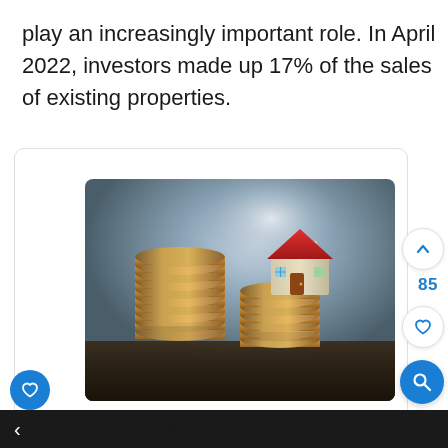play an increasingly important role. In April 2022, investors made up 17% of the sales of existing properties.
[Figure (photo): Photo of stacks of coins with a small toy house model on top, suggesting real estate investment.]
Subscribe to Tip Th...